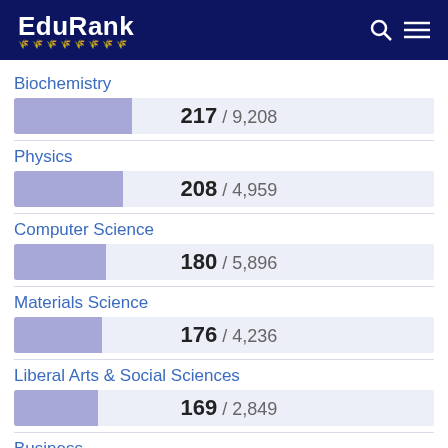EduRank
[Figure (bar-chart): University Rankings by Subject]